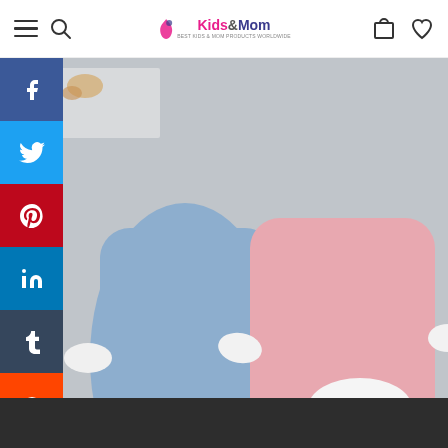Kids&Mom — navigation header with hamburger menu, search, logo, cart, and wishlist icons
[Figure (photo): Two baby rompers (one blue, one pink) with white fur trim laid flat on a grey surface, with small white baby sneakers to the right]
wborn Deer Costume- Winter Christmas Cartoon 3...
Dark footer bar